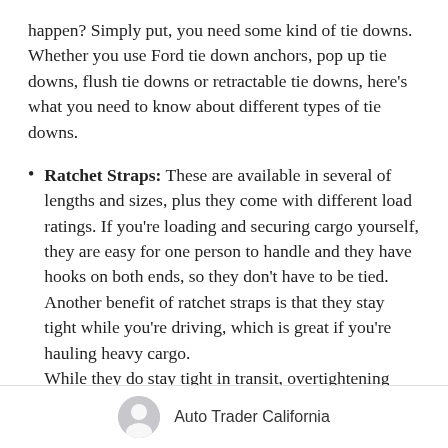happen? Simply put, you need some kind of tie downs. Whether you use Ford tie down anchors, pop up tie downs, flush tie downs or retractable tie downs, here's what you need to know about different types of tie downs.
Ratchet Straps: These are available in several of lengths and sizes, plus they come with different load ratings. If you're loading and securing cargo yourself, they are easy for one person to handle and they have hooks on both ends, so they don't have to be tied. Another benefit of ratchet straps is that they stay tight while you're driving, which is great if you're hauling heavy cargo. While they do stay tight in transit, overtightening ratchet straps can damage cargo and they are
Auto Trader California